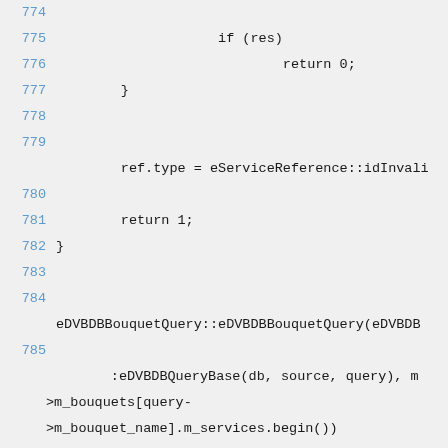Code listing lines 774-789, C++ source code showing eDVBDBBouquetQuery implementation
[Figure (screenshot): C++ source code viewer showing lines 774-789 with line numbers in blue, code text in dark monospace font on light gray background. Content includes if/return statements, ref.type assignment, and eDVBDBBouquetQuery constructor definition.]